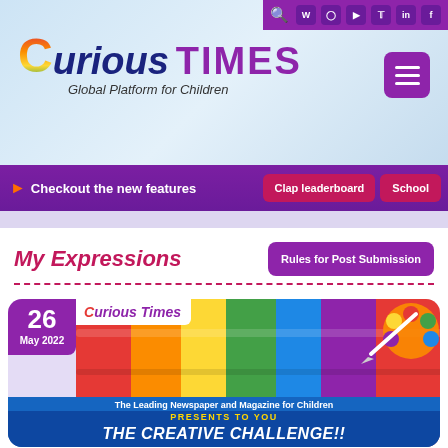[Figure (screenshot): Curious Times website header with logo and social media icons]
Curious Times — Global Platform for Children
Checkout the new features   Clap leaderboard   School
My Expressions
Rules for Post Submission
[Figure (illustration): Creative Challenge promotional card dated 26 May 2022 showing colorful painted background with Curious Times logo, The Leading Newspaper and Magazine for Children, PRESENTS TO YOU, THE CREATIVE CHALLENGE!!]